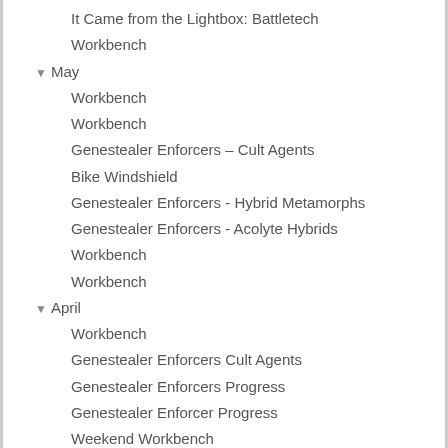It Came from the Lightbox: Battletech
Workbench
▼ May
Workbench
Workbench
Genestealer Enforcers – Cult Agents
Bike Windshield
Genestealer Enforcers - Hybrid Metamorphs
Genestealer Enforcers - Acolyte Hybrids
Workbench
Workbench
▼ April
Workbench
Genestealer Enforcers Cult Agents
Genestealer Enforcers Progress
Genestealer Enforcer Progress
Weekend Workbench
▼ March
Weekend Workbench